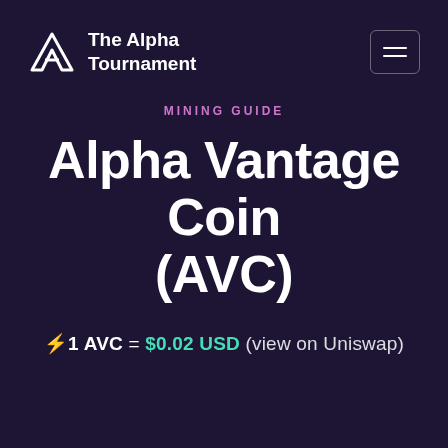The Alpha Tournament
MINING GUIDE
Alpha Vantage Coin (AVC)
⚡1 AVC = $0.02 USD (view on Uniswap)